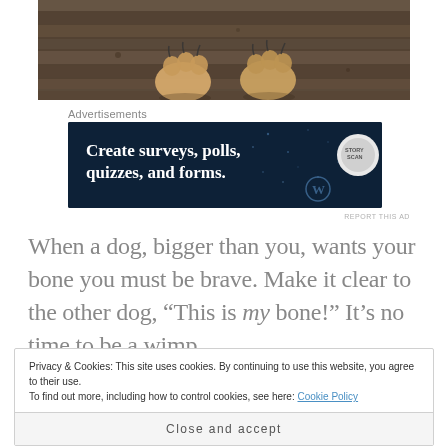[Figure (photo): Close-up photo of a dog's paws resting on a wooden floor/deck, showing the paws and claws from above.]
Advertisements
[Figure (screenshot): Advertisement banner with dark navy background reading 'Create surveys, polls, quizzes, and forms.' with WordPress logo and a circular icon on the right.]
REPORT THIS AD
When a dog, bigger than you, wants your bone you must be brave. Make it clear to the other dog, “This is my bone!” It’s no time to be a wimp.
Privacy & Cookies: This site uses cookies. By continuing to use this website, you agree to their use.
To find out more, including how to control cookies, see here: Cookie Policy
Close and accept